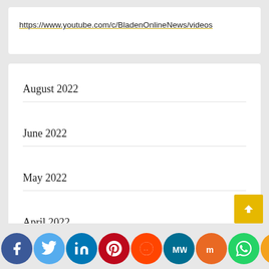https://www.youtube.com/c/BladenOnlineNews/videos
August 2022
June 2022
May 2022
April 2022
March 2022
February 2022